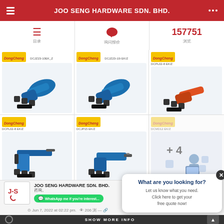JOO SENG HARDWARE SDN. BHD.
[Figure (screenshot): Navigation row with menu icon, chat icon, and number 157751]
[Figure (photo): Product grid showing 6 Dong Cheng power tool products: DCJZ23-10EK_Z, DCJZ23-10EK/Z, DCPL02-8 EK/Z, DCPL02-8 EK/Z, DCJP15 EK/Z, DCMD12 EK/Z]
[Figure (infographic): Popup: What are you looking for? Let us know what you need. Click here to get your free quote now!]
JOO SENG HARDWARE SDN. BHD.
WhatsApp me if you're interested
Jun 7, 2022 at 02:22 pm.  206
SHOW MORE INFO